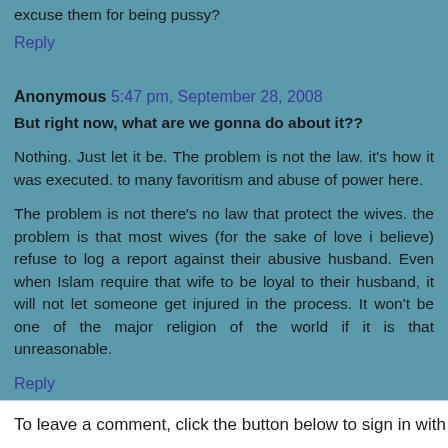excuse them for being pussy?
Reply
Anonymous 5:47 pm, September 28, 2008
But right now, what are we gonna do about it??
Nothing. Just let it be. The problem is not the law. it's how it was executed. to many favoritism and abuse of power here.
The problem is not there's no law that protect the wives. the problem is that most wives (for the sake of love i believe) refuse to log a report against their abusive husband. Even when Islam require that wife to be loyal to their husband, it will not let someone get injured in the process. It won't be one of the major religion of the world if it is that unreasonable.
Reply
To leave a comment, click the button below to sign in with